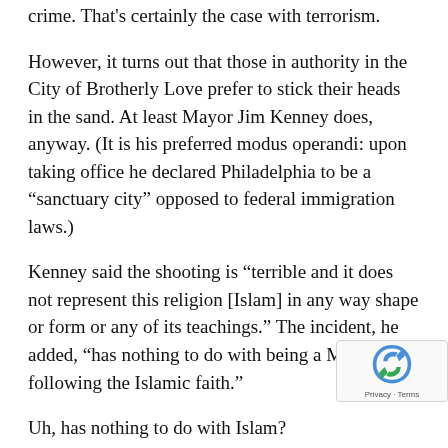crime. That's certainly the case with terrorism.
However, it turns out that those in authority in the City of Brotherly Love prefer to stick their heads in the sand. At least Mayor Jim Kenney does, anyway. (It is his preferred modus operandi: upon taking office he declared Philadelphia to be a “sanctuary city” opposed to federal immigration laws.)
Kenney said the shooting is “terrible and it does not represent this religion [Islam] in any way shape or form or any of its teachings.” The incident, he added, “has nothing to do with being a Muslim or following the Islamic faith.”
Uh, has nothing to do with Islam? Makes you wonder how much clearer Archer would have had to be before the mayor would take him at his word!
Of course, most Muslims in America don’t believe